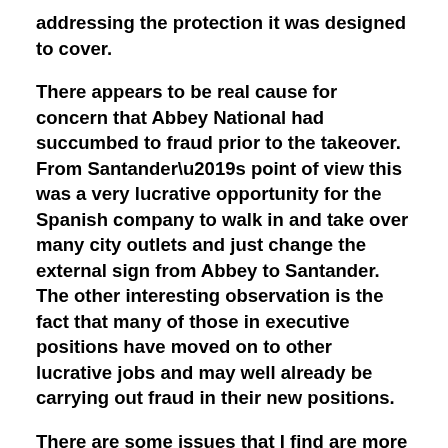addressing the protection it was designed to cover.
There appears to be real cause for concern that Abbey National had succumbed to fraud prior to the takeover. From Santander’s point of view this was a very lucrative opportunity for the Spanish company to walk in and take over many city outlets and just change the external sign from Abbey to Santander. The other interesting observation is the fact that many of those in executive positions have moved on to other lucrative jobs and may well already be carrying out fraud in their new positions.
There are some issues that I find are more than just coincidence and I will now cover those issues:
Most Major Banks or Financial Houses have there own security staff, and would normally investigate any